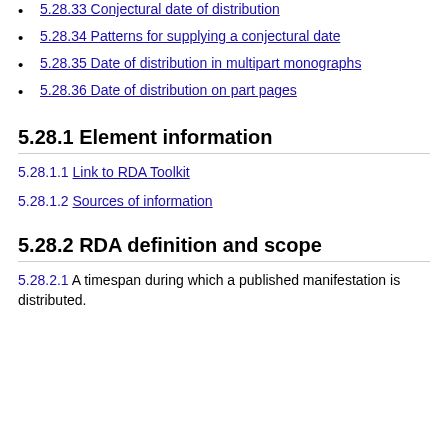5.28.33 Conjectural date of distribution
5.28.34 Patterns for supplying a conjectural date
5.28.35 Date of distribution in multipart monographs
5.28.36 Date of distribution on part pages
5.28.1 Element information
5.28.1.1 Link to RDA Toolkit
5.28.1.2 Sources of information
5.28.2 RDA definition and scope
5.28.2.1 A timespan during which a published manifestation is distributed.